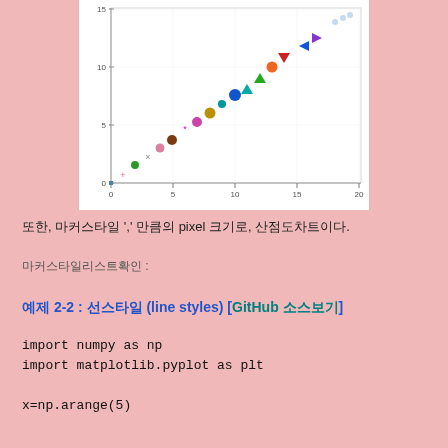[Figure (continuous-plot): Scatter-like plot showing points with various marker styles arranged roughly linearly from (0,0) to (20,15+), with colored markers of different shapes (circles, triangles, x, +, etc.) along a diagonal trend. X-axis: 0 to 20, Y-axis: 0 to 15+.]
또한, 마커스타일 ';' 만큼의 pixel 크기로, 산점도차트이다.
마커스타일리스트확인 :
예제 2-2 : 선스타일 (line styles) [GitHub 소스보기]
import numpy as np
import matplotlib.pyplot as plt

x=np.arange(5)